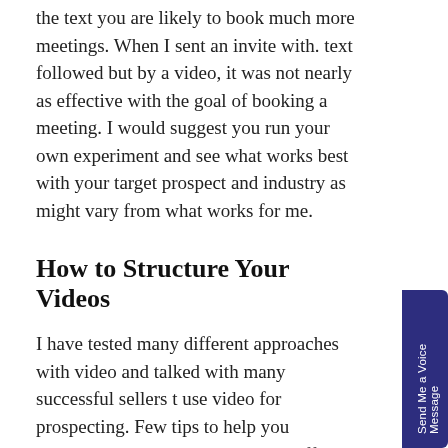the text you are likely to book much more meetings. When I sent an invite with. text followed but by a video, it was not nearly as effective with the goal of booking a meeting. I would suggest you run your own experiment and see what works best with your target prospect and industry as might vary from what works for me.
How to Structure Your Videos
I have tested many different approaches with video and talked with many successful sellers t use video for prospecting. Few tips to help you maximize your video prospecting efforts are to